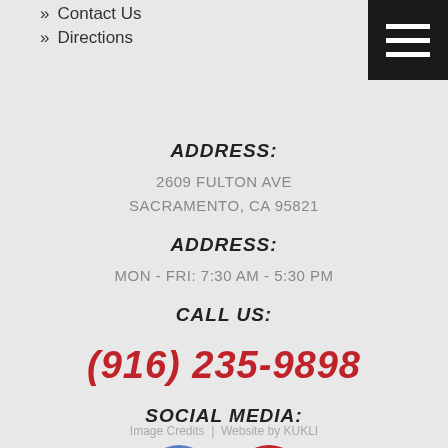» Contact Us
» Directions
ADDRESS:
2609 FULTON AVE
SACRAMENTO, CA 95821
ADDRESS:
MON - FRI: 7:30 AM - 5:30 PM
CALL US:
(916) 235-9898
SOCIAL MEDIA:
[Figure (illustration): Facebook icon (blue circle with white f) and Yelp icon (red circle with white asterisk/star)]
Image Credits | Website by KUKLI